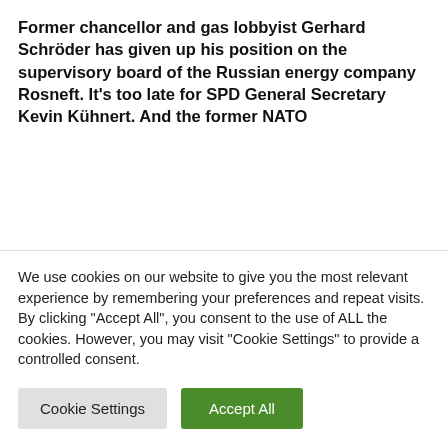Former chancellor and gas lobbyist Gerhard Schröder has given up his position on the supervisory board of the Russian energy company Rosneft. It's too late for SPD General Secretary Kevin Kühnert. And the former NATO
We use cookies on our website to give you the most relevant experience by remembering your preferences and repeat visits. By clicking "Accept All", you consent to the use of ALL the cookies. However, you may visit "Cookie Settings" to provide a controlled consent.